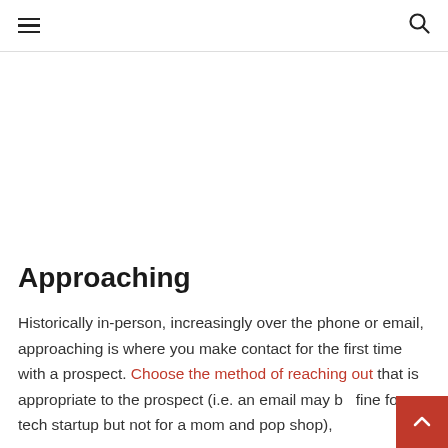≡  🔍
Approaching
Historically in-person, increasingly over the phone or email, approaching is where you make contact for the first time with a prospect. Choose the method of reaching out that is appropriate to the prospect (i.e. an email may be fine for a tech startup but not for a mom and pop shop),